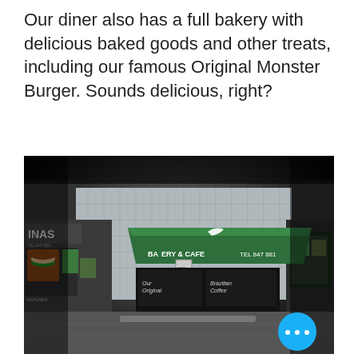Our diner also has a full bakery with delicious baked goods and other treats, including our famous Original Monster Burger. Sounds delicious, right?
[Figure (photo): Exterior storefront photo of a bakery and cafe at night. A green awning reads 'BAKERY & CAFE TEL 847 881'. The left side shows a sign reading 'INAS' and food photos. A blue circular button with three dots is overlaid in the bottom right corner.]